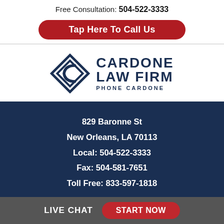Free Consultation: 504-522-3333
Tap Here To Call Us
[Figure (logo): Cardone Law Firm logo with diamond C icon and text CARDONE LAW FIRM PHONE CARDONE]
829 Baronne St
New Orleans, LA 70113
Local: 504-522-3333
Fax: 504-581-7651
Toll Free: 833-597-1818
HOME
LIVE CHAT  START NOW